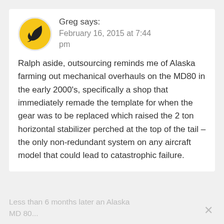[Figure (illustration): Circular avatar icon with yellow/gold background and a black bird/whale silhouette shape]
Greg says:
February 16, 2015 at 7:44 pm
Ralph aside, outsourcing reminds me of Alaska farming out mechanical overhauls on the MD80 in the early 2000's, specifically a shop that immediately remade the template for when the gear was to be replaced which raised the 2 ton horizontal stabilizer perched at the top of the tail – the only non-redundant system on any aircraft model that could lead to catastrophic failure.
Less than 6 months later an Alaska MD 80...